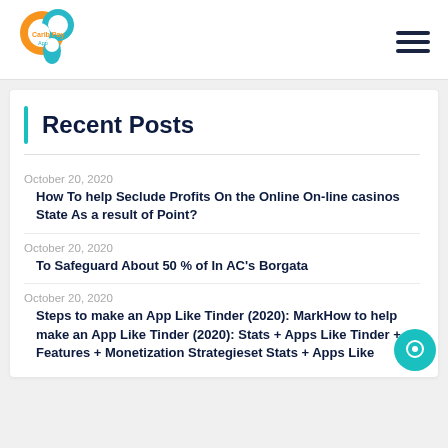[Figure (logo): Carib Pay App logo with orange and teal circular design]
Recent Posts
October 20, 2020
How To help Seclude Profits On the Online Online casinos State As a result of Point?
October 20, 2020
To Safeguard About 50 % of In AC's Borgata
October 20, 2020
Steps to make an App Like Tinder (2020): MarkHow to help make an App Like Tinder (2020): Stats + Apps Like Tinder + Features + Monetization Strategieset Stats + Apps Like